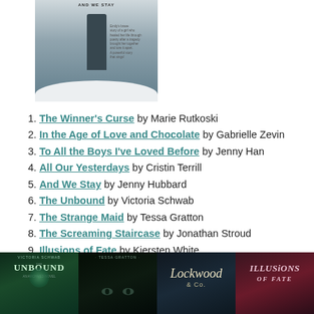[Figure (photo): Book cover of 'And We Stay' showing a person standing in a snowy winter scene with descriptive text on the right side]
1. The Winner's Curse by Marie Rutkoski
2. In the Age of Love and Chocolate by Gabrielle Zevin
3. To All the Boys I've Loved Before by Jenny Han
4. All Our Yesterdays by Cristin Terrill
5. And We Stay by Jenny Hubbard
6. The Unbound by Victoria Schwab
7. The Strange Maid by Tessa Gratton
8. The Screaming Staircase by Jonathan Stroud
9. Illusions of Fate by Kiersten White
10. The Vanishing Season by Jodi Lynn Anderson
[Figure (photo): Four book covers in a row: The Unbound by Victoria Schwab, The Strange Maid by Tessa Gratton, Lockwood & Co. (The Screaming Staircase) by Jonathan Stroud, and Illusions of Fate by Kiersten White]